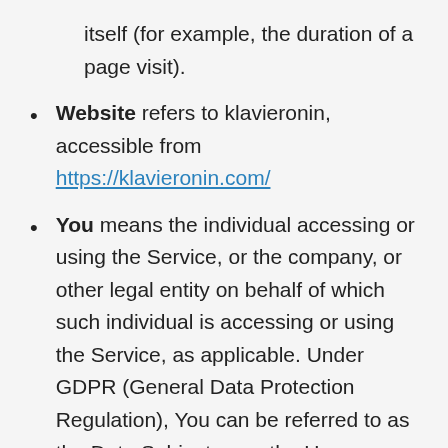itself (for example, the duration of a page visit).
Website refers to klavieronin, accessible from https://klavieronin.com/
You means the individual accessing or using the Service, or the company, or other legal entity on behalf of which such individual is accessing or using the Service, as applicable. Under GDPR (General Data Protection Regulation), You can be referred to as the Data Subject or as the User as you are the individual using the Service.
COLLECTING AND USING YOUR